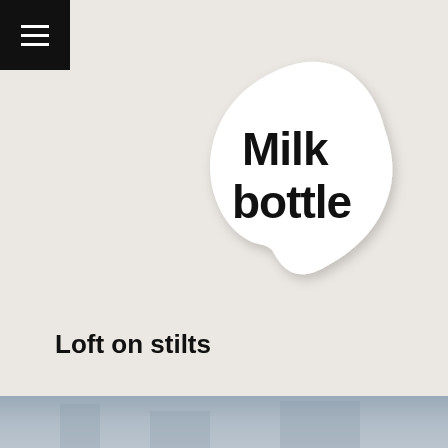[Figure (logo): Milk bottle logo: white blob/speech-bubble shaped sticker with 'Milk bottle' text in bold black sans-serif]
Loft on stilts
[Figure (photo): Partial photo at bottom of page, appears to show a building exterior]